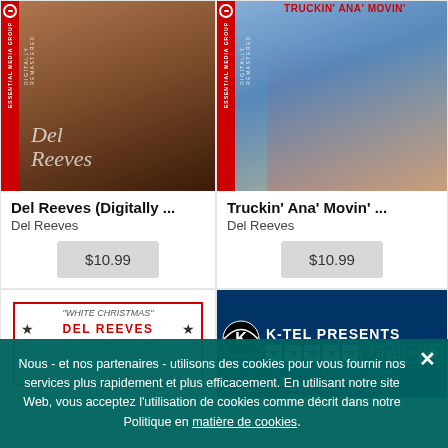[Figure (photo): Album cover for Del Reeves Digitally Remastered - close-up portrait of a man with Essential Media Group badge on left]
Del Reeves (Digitally ...
Del Reeves
$10.99
[Figure (photo): Album cover for Truckin Ana Movin - man leaning on a truck cab, Essential Media Group badge on left]
Truckin' Ana' Movin' ...
Del Reeves
$10.99
[Figure (photo): White Christmas album cover with red border showing DEL REEVES name with stars]
[Figure (photo): K-Tel Presents album cover with K-Tel logo and stars icons on dark blue background]
Nous - et nos partenaires - utilisons des cookies pour vous fournir nos services plus rapidement et plus efficacement. En utilisant notre site Web, vous acceptez l'utilisation de cookies comme décrit dans notre Politique en matière de cookies.